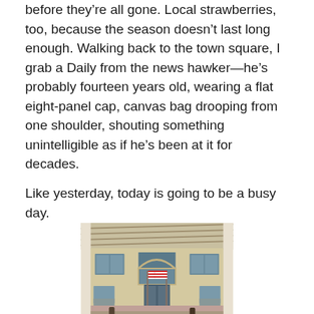before they're all gone. Local strawberries, too, because the season doesn't last long enough. Walking back to the town square, I grab a Daily from the news hawker—he's probably fourteen years old, wearing a flat eight-panel cap, canvas bag drooping from one shoulder, shouting something unintelligible as if he's been at it for decades.
Like yesterday, today is going to be a busy day.
[Figure (photo): Photograph of a building entrance with a large arched window above the doorway, two American flags flanking the entrance, and a covered porch with wooden beam ceiling visible at top. The building appears to be a historic structure with light-colored exterior.]